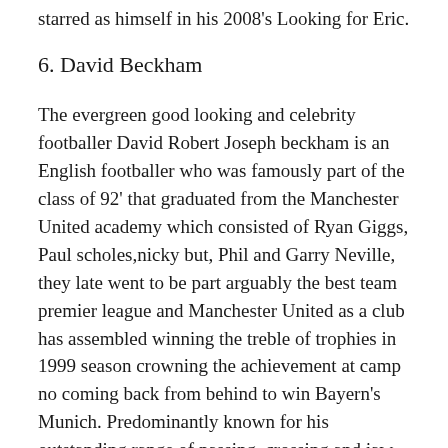starred as himself in his 2008's Looking for Eric.
6. David Beckham
The evergreen good looking and celebrity footballer David Robert Joseph beckham is an English footballer who was famously part of the class of 92' that graduated from the Manchester United academy which consisted of Ryan Giggs, Paul scholes,nicky but, Phil and Garry Neville, they late went to be part arguably the best team premier league and Manchester United as a club has assembled winning the treble of trophies in 1999 season crowning the achievement at camp no coming back from behind to win Bayern's Munich. Predominantly known for his outstanding range of passing, crossing and jaw dropping free kick ability. He had a great career winning multiple trophy medals